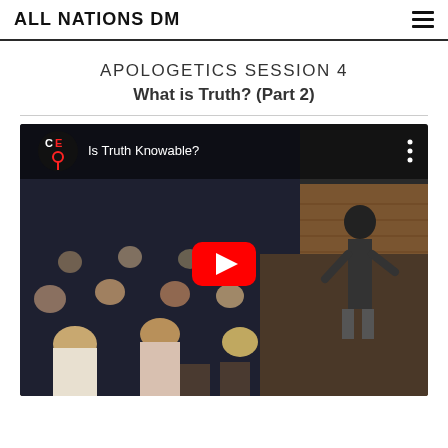ALL NATIONS DM
APOLOGETICS SESSION 4
What is Truth? (Part 2)
[Figure (screenshot): YouTube video thumbnail showing a speaker presenting to an audience in a church/conference room setting. The video is titled 'Is Truth Knowable?' with a YouTube play button overlay. The CE (Cross Examined) channel logo is visible in the top-left corner.]